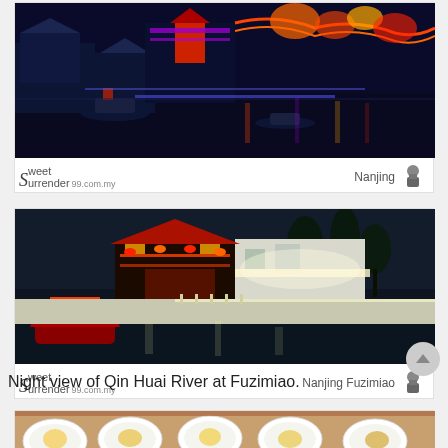[Figure (photo): Night photo of Nanjing waterway with illuminated traditional Chinese buildings, colorful festive dragon lights reflected on the dark water, with multiple boats on the river.]
Sweet Surrender 99.com.my   Nanjing
[Figure (photo): Night photo of Nanjing Fuzimiao (Confucius Temple) area showing illuminated traditional Chinese architecture along the Qin Huai River, with a red decorated boat on the water and bright street lights.]
Sweet Surrender 99.com.my   Nanjing Fuzimiao
Night view of Qin Huai River at Fuzimiao.
[Figure (photo): Partial view of various Chinese dishes in white bowls on a table, showing eggs and other food items.]